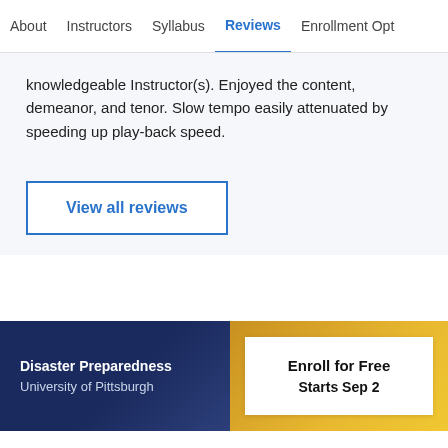About | Instructors | Syllabus | Reviews | Enrollment Opt
knowledgeable Instructor(s). Enjoyed the content, demeanor, and tenor. Slow tempo easily attenuated by speeding up play-back speed.
View all reviews
Disaster Preparedness
University of Pittsburgh
Enroll for Free
Starts Sep 2